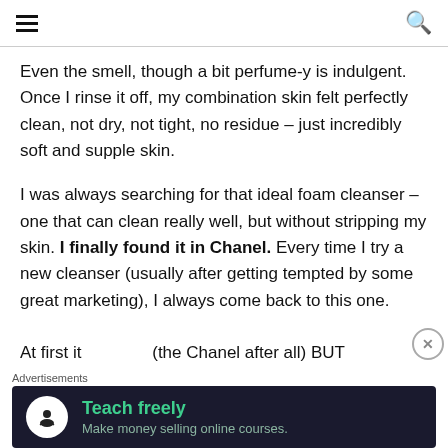[hamburger menu] [search icon]
Even the smell, though a bit perfume-y is indulgent. Once I rinse it off, my combination skin felt perfectly clean, not dry, not tight, no residue – just incredibly soft and supple skin.
I was always searching for that ideal foam cleanser – one that can clean really well, but without stripping my skin. I finally found it in Chanel. Every time I try a new cleanser (usually after getting tempted by some great marketing), I always come back to this one.
At first it...
Advertisements
[Figure (screenshot): Advertisement banner with dark background showing 'Teach freely – Make money selling online courses' with a white tree/person icon on left]